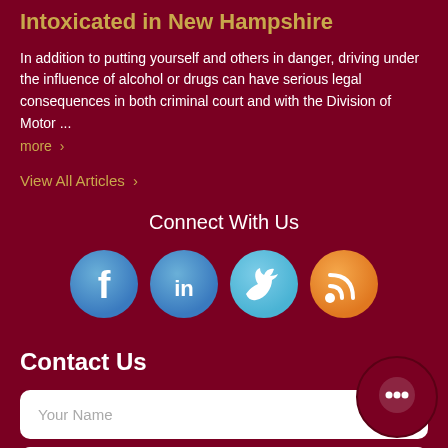Consequences of an Arrest for Driving While Intoxicated in New Hampshire
In addition to putting yourself and others in danger, driving under the influence of alcohol or drugs can have serious legal consequences in both criminal court and with the Division of Motor ...
more >
View All Articles >
Connect With Us
[Figure (infographic): Four social media icons: Facebook (blue circle with f), LinkedIn (blue circle with in), Twitter (light blue circle with bird), RSS (orange circle with wifi signal icon)]
Contact Us
Your Name
Your Email